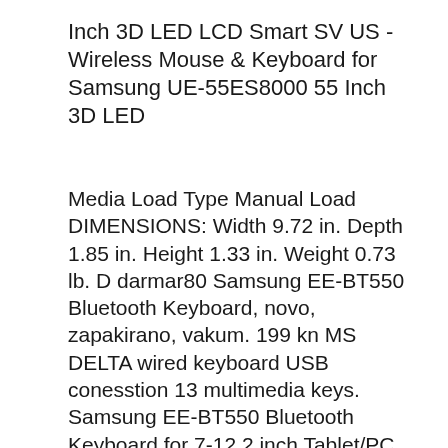Inch 3D LED LCD Smart SV US -Wireless Mouse & Keyboard for Samsung UE-55ES8000 55 Inch 3D LED
Media Load Type Manual Load DIMENSIONS: Width 9.72 in. Depth 1.85 in. Height 1.33 in. Weight 0.73 lb. D darmar80 Samsung EE-BT550 Bluetooth Keyboard, novo, zapakirano, vakum. 199 kn MS DELTA wired keyboard USB conesstion 13 multimedia keys. Samsung EE-BT550 Bluetooth Keyboard for 7-12.2 inch Tablet/PC Description Product Description Stylish and superbly efficient, the Samsung's Bluetooth keyboard makes your use of Android devices effortless!